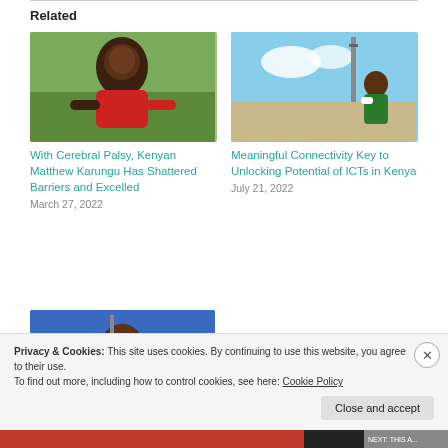Related
[Figure (photo): Man in red shirt seated outdoors, smiling]
With Cerebral Palsy, Kenyan Matthew Karungu Has Shattered Barriers and Excelled
March 27, 2022
[Figure (photo): Person in traditional attire outdoors with blue sky]
Meaningful Connectivity Key to Unlocking Potential of ICTs in Kenya
July 21, 2022
[Figure (photo): Man against blue background]
Privacy & Cookies: This site uses cookies. By continuing to use this website, you agree to their use.
To find out more, including how to control cookies, see here: Cookie Policy
Close and accept